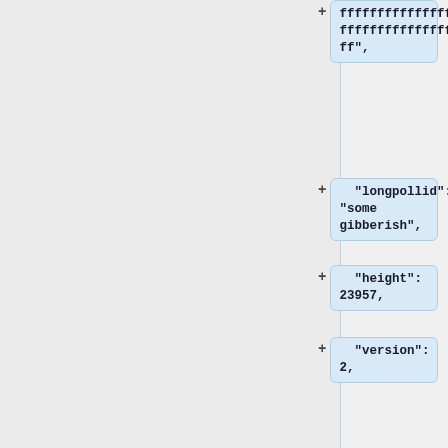ffffffffffffffffffffffffffffffffffffffffffffffffffffffff
ff",
"longpollid": "some gibberish",
"height": 23957,
"version": 2,
"curtime": 1346886758,
"mutable": ["coinbase/append"],
"bits": "ffff001d"
},